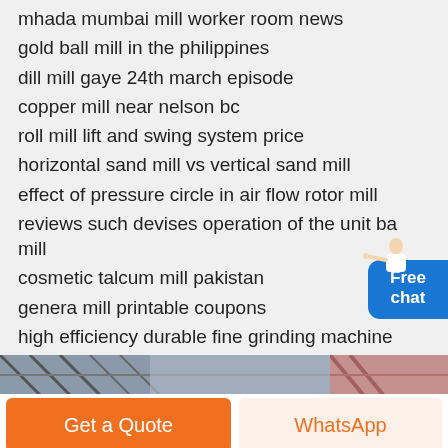mhada mumbai mill worker room news
gold ball mill in the philippines
dill mill gaye 24th march episode
copper mill near nelson bc
roll mill lift and swing system price
horizontal sand mill vs vertical sand mill
effect of pressure circle in air flow rotor mill
reviews such devises operation of the unit ball mill
cosmetic talcum mill pakistan
genera mill printable coupons
high efficiency durable fine grinding machine
ball mill from china
used shaving mill
ball mill iron ore crushing machine
[Figure (photo): Two industrial/building photos shown at bottom of page]
[Figure (infographic): Free chat widget with person icon, blue rounded rectangle button]
Get a Quote
WhatsApp